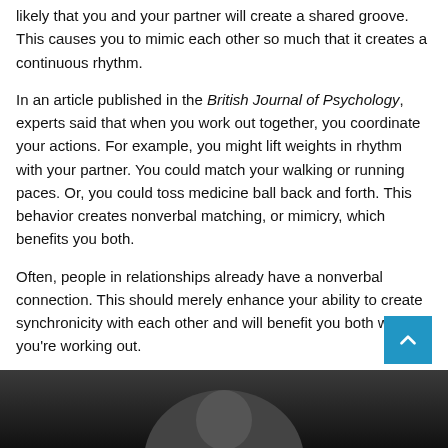likely that you and your partner will create a shared groove. This causes you to mimic each other so much that it creates a continuous rhythm.
In an article published in the British Journal of Psychology, experts said that when you work out together, you coordinate your actions. For example, you might lift weights in rhythm with your partner. You could match your walking or running paces. Or, you could toss medicine ball back and forth. This behavior creates nonverbal matching, or mimicry, which benefits you both.
Often, people in relationships already have a nonverbal connection. This should merely enhance your ability to create synchronicity with each other and will benefit you both when you're working out.
[Figure (photo): A dark photo strip at the bottom of the page showing a partial silhouette of a person]